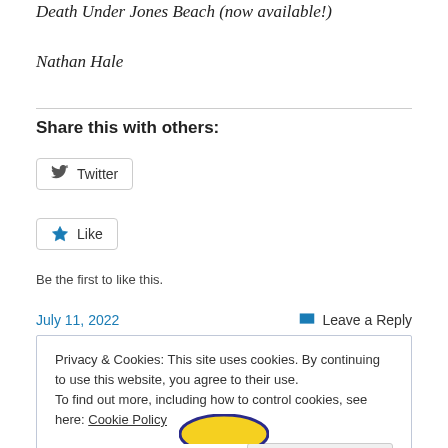Death Under Jones Beach (now available!)
Nathan Hale
Share this with others:
[Figure (other): Twitter share button with bird icon]
[Figure (other): Like button with star icon]
Be the first to like this.
July 11, 2022
Leave a Reply
Privacy & Cookies: This site uses cookies. By continuing to use this website, you agree to their use.
To find out more, including how to control cookies, see here: Cookie Policy
Close and accept
[Figure (logo): Partially visible circular logo at bottom of page]